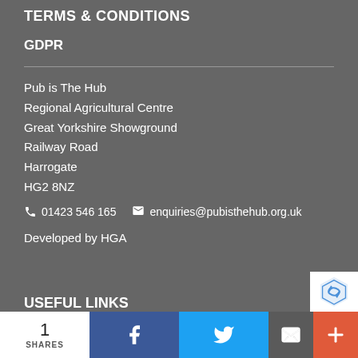TERMS & CONDITIONS
GDPR
Pub is The Hub
Regional Agricultural Centre
Great Yorkshire Showground
Railway Road
Harrogate
HG2 8NZ
📞 01423 546 165   ✉ enquiries@pubisthehub.org.uk
Developed by HGA
USEFUL LINKS
[Figure (logo): reCAPTCHA logo badge (partial, bottom-right corner)]
1 SHARES
[Figure (infographic): Social sharing bar with Facebook (blue), Twitter (light blue), email/envelope (dark grey), and more/plus (orange-red) buttons]